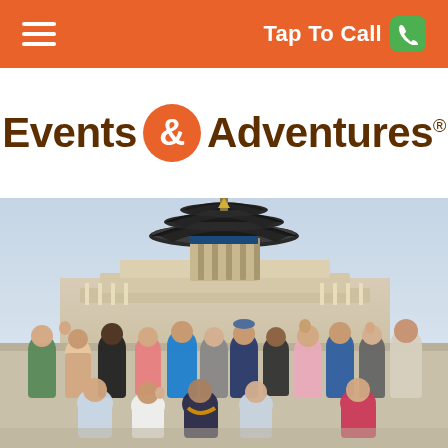Tap To Call
Events & Adventures®
[Figure (photo): Group of approximately 30 smiling adults posing in front of the Temple of Heaven in Beijing, China. The traditional Chinese circular temple with dark tiered roofs rises behind them. Marble terraces and balustrades are visible. The group is waving and smiling at the camera on an overcast day.]